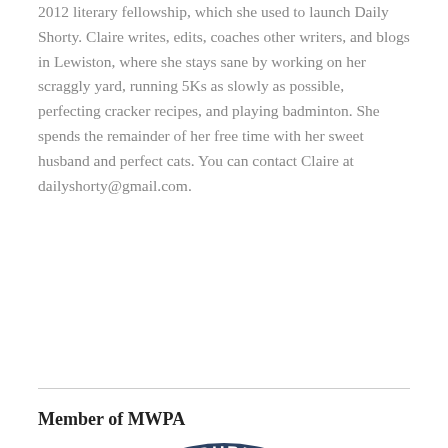2012 literary fellowship, which she used to launch Daily Shorty. Claire writes, edits, coaches other writers, and blogs in Lewiston, where she stays sane by working on her scraggly yard, running 5Ks as slowly as possible, perfecting cracker recipes, and playing badminton. She spends the remainder of her free time with her sweet husband and perfect cats. You can contact Claire at dailyshorty@gmail.com.
Member of MWPA
[Figure (logo): Maine Writers & Publishers Alliance (MWPA) circular logo with dark navy blue color. Features the silhouette of the state of Maine in the center, with 'MWPA' in large bold text and 'EST. 1975' below it. Around the circle reads 'MAINE WRITERS & PUBLISHERS ALLIANCE'.]